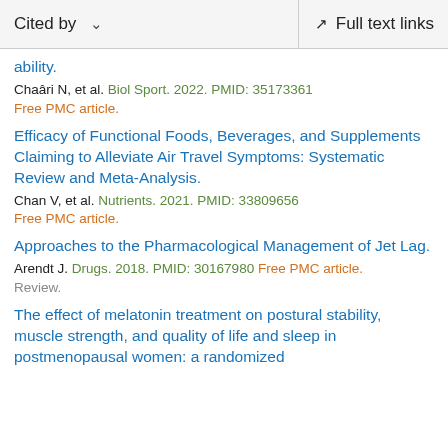Cited by   ∨   Full text links
ability.
Chaâri N, et al. Biol Sport. 2022. PMID: 35173361
Free PMC article.
Efficacy of Functional Foods, Beverages, and Supplements Claiming to Alleviate Air Travel Symptoms: Systematic Review and Meta-Analysis.
Chan V, et al. Nutrients. 2021. PMID: 33809656
Free PMC article.
Approaches to the Pharmacological Management of Jet Lag.
Arendt J. Drugs. 2018. PMID: 30167980 Free PMC article.
Review.
The effect of melatonin treatment on postural stability, muscle strength, and quality of life and sleep in postmenopausal women: a randomized